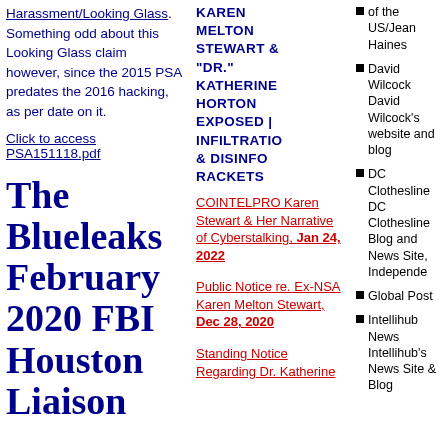Harassment/Looking Glass. Something odd about this Looking Glass claim however, since the 2015 PSA predates the 2016 hacking, as per date on it.
Click to access PSA151118.pdf
The Blueleaks February 2020 FBI Houston Liaison
KAREN MELTON STEWART & "DR." KATHERINE HORTON EXPOSED | INFILTRATION & DISINFO RACKETS
COINTELPRO Karen Stewart & Her Narrative of Cyberstalking, Jan 24, 2022
Public Notice re. Ex-NSA Karen Melton Stewart, Dec 28, 2020
Standing Notice Regarding Dr. Katherine
of the US/Jean Haines
David Wilcock David Wilcock's website and blog
DC Clothesline DC Clothesline Blog and News Site, Independent
Global Post
Intellihub News Intellihub's News Site & Blog